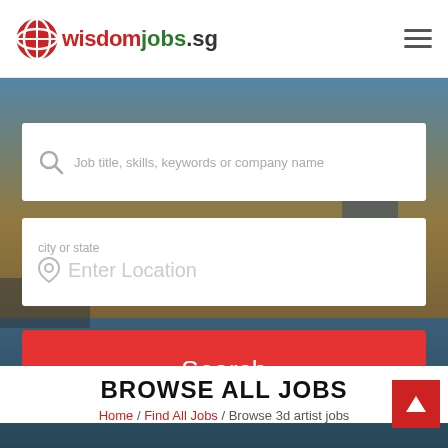[Figure (logo): wisdomjobs.sg logo with red W icon]
[Figure (screenshot): Job search hero banner with background photo of person at waterfront, two search input fields (Job title/skills/keywords or company name, and Enter Location with city or state label), and a red Search button]
BROWSE ALL JOBS
Home / Find All Jobs / Browse 3d artist jobs